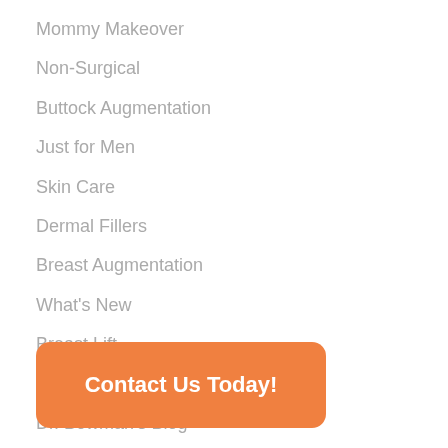Mommy Makeover
Non-Surgical
Buttock Augmentation
Just for Men
Skin Care
Dermal Fillers
Breast Augmentation
What's New
Breast Lift
News
Dr. Bowman's Blog
Contact Us Today!